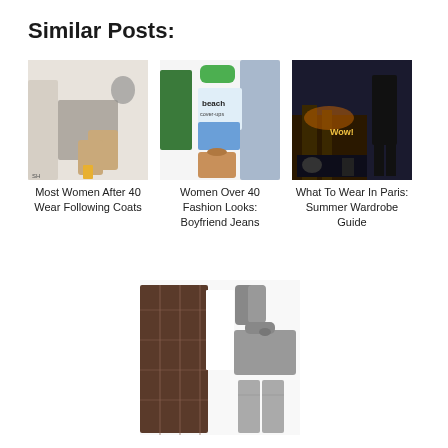Similar Posts:
[Figure (photo): Fashion collage: beige ankle boots, gray sweater, coat, headphones, lipstick]
Most Women After 40 Wear Following Coats
[Figure (photo): Fashion collage: green blazer, beach cover-up bikini, green sandals, floral bag, distressed jeans]
Women Over 40 Fashion Looks: Boyfriend Jeans
[Figure (photo): Fashion collage: black outfit, dark mini shorts, thigh-high boots, Paris cityscape background, 'Wow!' text]
What To Wear In Paris: Summer Wardrobe Guide
[Figure (photo): Fashion collage: plaid long coat, white top, gray gloves, gray handbag, thigh-high gray boots]